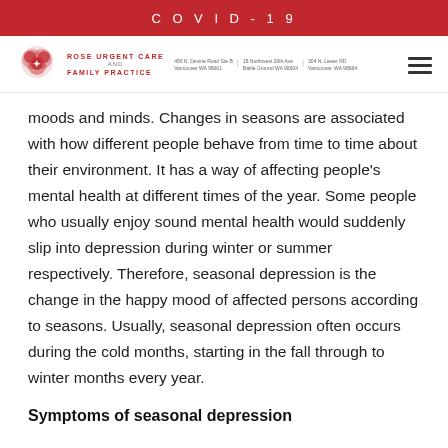COVID-19
[Figure (logo): Rose Urgent Care and Family Practice logo with clinic addresses]
moods and minds. Changes in seasons are associated with how different people behave from time to time about their environment. It has a way of affecting people's mental health at different times of the year. Some people who usually enjoy sound mental health would suddenly slip into depression during winter or summer respectively. Therefore, seasonal depression is the change in the happy mood of affected persons according to seasons. Usually, seasonal depression often occurs during the cold months, starting in the fall through to winter months every year.
Symptoms of seasonal depression